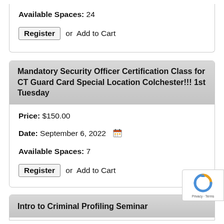Available Spaces: 24
Register or Add to Cart
Mandatory Security Officer Certification Class for CT Guard Card Special Location Colchester!!! 1st Tuesday
Price: $150.00
Date: September 6, 2022
Available Spaces: 7
Register or Add to Cart
Intro to Criminal Profiling Seminar